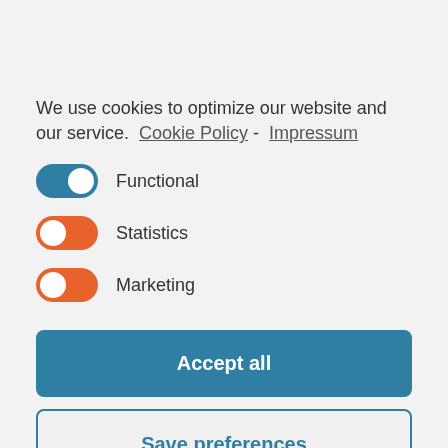We use cookies to optimize our website and our service.  Cookie Policy - Impressum
Functional
Statistics
Marketing
Accept all
Save preferences